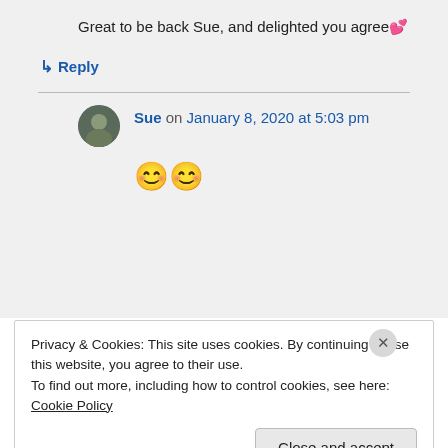Great to be back Sue, and delighted you agree 💕
↳ Reply
Sue on January 8, 2020 at 5:03 pm
😊😊
Privacy & Cookies: This site uses cookies. By continuing to use this website, you agree to their use.
To find out more, including how to control cookies, see here: Cookie Policy
Close and accept